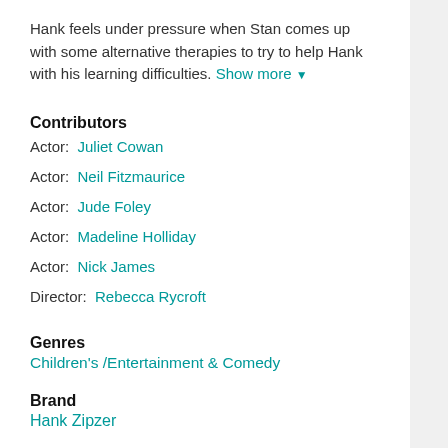Hank feels under pressure when Stan comes up with some alternative therapies to try to help Hank with his learning difficulties. Show more ▼
Contributors
Actor:  Juliet Cowan
Actor:  Neil Fitzmaurice
Actor:  Jude Foley
Actor:  Madeline Holliday
Actor:  Nick James
Director:  Rebecca Rycroft
Genres
Children's /Entertainment & Comedy
Brand
Hank Zipzer
Series